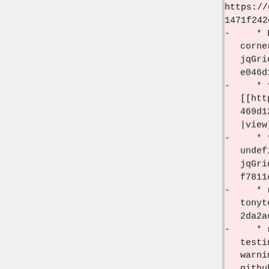https://github.com/tonytomov/jqGrid/co
1471f242ddba907b968f981144536eebbe7d36
* Fix the name of jQuery UI CSS clas
corner-bottom [[ https://github.com/to
jqGrid/commit/
e046d1059a7f2cff98cc2f84faf4e9917784760
* fix usage of $elem.val(undefined)
[[https://github.com/tonytomov/jqGrid/
469d12254ec38562c72628453d72b3432f3f6a
|view]]
* fix calling of custom_value with 
undefined value [[https://github.com/t
jqGrid/commit/
f7811c5a69b46e9deca390cc4d6af6614f6f14
* replace 0px to 0 [[https://github.
tonytomov/jqGrid/commit/
2da2ac0def624bdd717189568e449370ce8c1c
* replace testing for undefined to t
testing for null or undefined to preve
warning of usage cm.searchtype below [
github.com/tonytomov/jqGrid/commit/
62b9e3b6744fed2ad6c4338ed0f9cd79088028
* fixing possible usage of null.toSt
undefined.toString() [[https://github.
tonytomov/jqGrid/commit/
3e5f92d141f0c5c23d9cd4246ad6cd7c3c1ed8